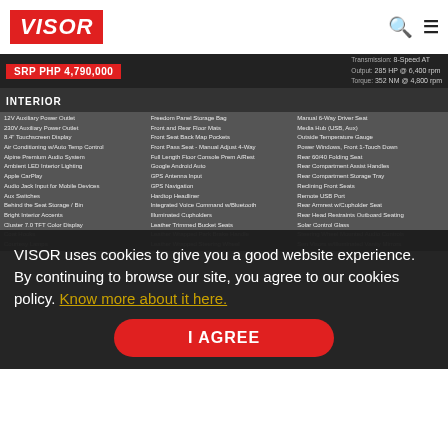VISOR
| Transmission | Output | Torque |
| --- | --- | --- |
| 8-Speed AT | 285 HP @ 6,400 rpm | 352 NM @ 4,800 rpm |
INTERIOR
| Column 1 | Column 2 | Column 3 |
| --- | --- | --- |
| 12V Auxiliary Power Outlet | Freedom Panel Storage Bag | Manual 6-Way Driver Seat |
| 230V Auxiliary Power Outlet | Front and Rear Floor Mats | Media Hub (USB, Aux) |
| 8.4" Touchscreen Display | Front Seat Back Map Pockets | Outside Temperature Gauge |
| Air Conditioning w/Auto Temp Control | Front Pass Seat - Manual Adjust 4-Way | Power Windows, Front 1-Touch Down |
| Alpine Premium Audio System | Full Length Floor Console Prem A/Rest | Rear 60/40 Folding Seat |
| Ambient LED Interior Lighting | Google Android Auto | Rear Compartment Assist Handles |
| Apple CarPlay | GPS Antenna Input | Rear Compartment Storage Tray |
| Audio Jack Input for Mobile Devices | GPS Navigation | Reclining Front Seats |
| Aux Switches | Hardtop Headliner | Remote USB Port |
| Behind the Seat Storage / Bin | Integrated Voice Command w/Bluetooth | Rear Armrest w/Cupholder Seat |
| Bright Interior Accents | Illuminated Cupholders | Rear Head Restraints Outboard Seating |
| Cluster 7.0 TFT Color Display | Leather Trimmed Bucket Seats | Solar Control Glass |
| Coat Hooks | Leather Wrapped Park Brake Handle | Steering Wheel Mounted Audio Controls |
| Courtesy Lamps | Leather Wrapped Steering Wheel | Sun Visors w/Illuminated Vanity Mirrors |
VISOR uses cookies to give you a good website experience. By continuing to browse our site, you agree to our cookies policy. Know more about it here.